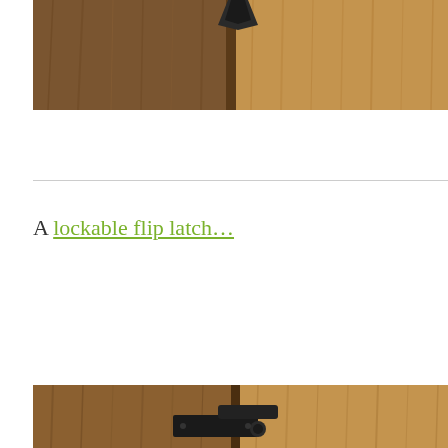[Figure (photo): Close-up photo of a wooden fence/gate surface with dark metal hardware visible at the top center. The wood has a warm brown tone with visible grain.]
A lockable flip latch…
[Figure (photo): Close-up photo of a wooden fence/gate with a black metal lockable flip latch hardware mounted on it. The wood is warm brown with natural grain, and the black latch is visible at the bottom center of the image.]